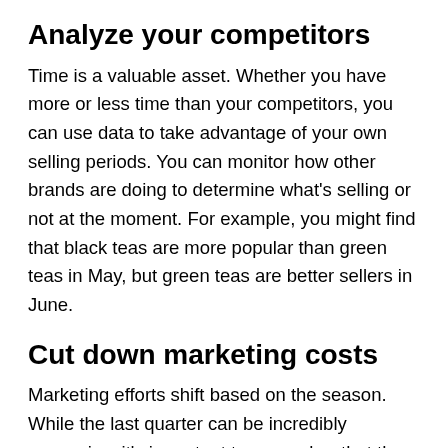Analyze your competitors
Time is a valuable asset. Whether you have more or less time than your competitors, you can use data to take advantage of your own selling periods. You can monitor how other brands are doing to determine what's selling or not at the moment. For example, you might find that black teas are more popular than green teas in May, but green teas are better sellers in June.
Cut down marketing costs
Marketing efforts shift based on the season. While the last quarter can be incredibly expensive, it's important to remember that the low bidding costs are often tied to low conversion rates. In off seasons, focus on getting quality leads that you can nurture through consistent marketing and social media engagement, leading them into your top...